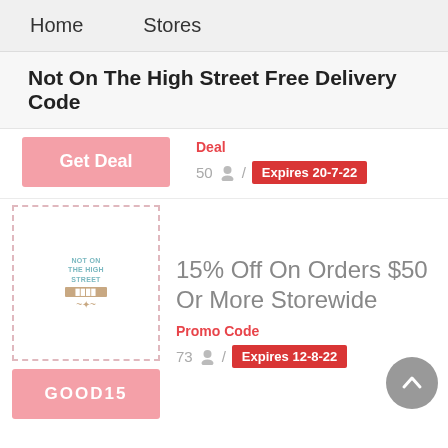Home   Stores
Not On The High Street Free Delivery Code
Deal
Get Deal
50 / Expires 20-7-22
[Figure (logo): Not On The High Street store logo with teal text and ribbon]
15% Off On Orders $50 Or More Storewide
Promo Code
GOOD15
73 / Expires 12-8-22